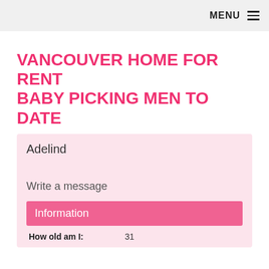MENU ≡
VANCOUVER HOME FOR RENT BABY PICKING MEN TO DATE
Adelind
Write a message
Information
How old am I:   31